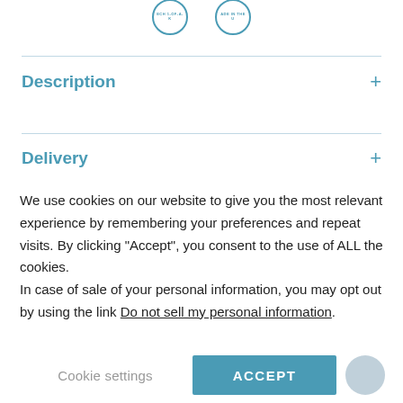[Figure (logo): Two partially visible circular badge icons at the top with teal border and text]
Description +
Delivery +
We use cookies on our website to give you the most relevant experience by remembering your preferences and repeat visits. By clicking “Accept”, you consent to the use of ALL the cookies. In case of sale of your personal information, you may opt out by using the link Do not sell my personal information.